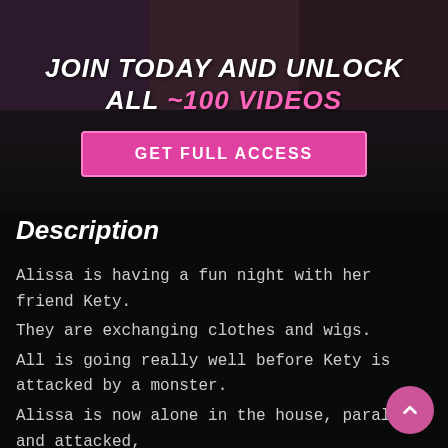[Figure (other): Dark banner background with photo strip of figures at the top, overlaid with promotional text 'JOIN TODAY AND UNLOCK ALL ~100 VIDEOS' and a pink 'GET FULL ACCESS' button]
Description
Alissa is having a fun night with her friend Kety.
They are exchanging clothes and wigs.
All is going really well before Kety is attacked by a monster.
Alissa is now alone in the house, paralyzed and attacked,
Till her mind breaks and she starts to